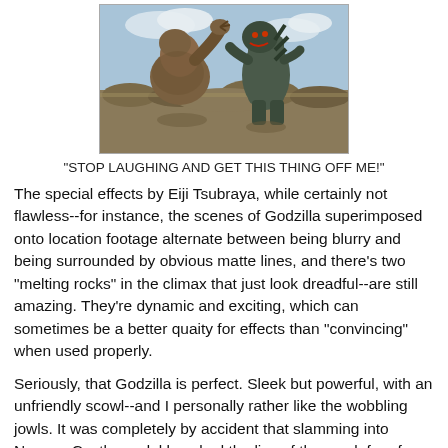[Figure (photo): Movie still showing two monster/creature suits facing each other in an outdoor rocky landscape setting, appearing to be from a classic Japanese kaiju film.]
"STOP LAUGHING AND GET THIS THING OFF ME!"
The special effects by Eiji Tsubraya, while certainly not flawless--for instance, the scenes of Godzilla superimposed onto location footage alternate between being blurry and being surrounded by obvious matte lines, and there's two "melting rocks" in the climax that just look dreadful--are still amazing. They're dynamic and exciting, which can sometimes be a better quaity for effects than "convincing" when used properly.
Seriously, that Godzilla is perfect. Sleek but powerful, with an unfriendly scowl--and I personally rather like the wobbling jowls. It was completely by accident that slamming into Nagoya Castle model knocked the lips of the mask free from their adhesive, but the result feels oddly organic. No wonder Tsuburaya and Honda kept those shots in the finished film.